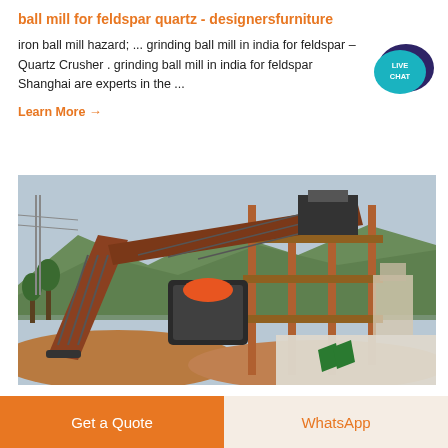ball mill for feldspar quartz - designersfurniture
iron ball mill hazard; ... grinding ball mill in india for feldspar – Quartz Crusher . grinding ball mill in india for feldspar Shanghai are experts in the ...
[Figure (other): Live Chat speech bubble icon with teal/dark purple color and white text reading LIVE CHAT]
Learn More →
[Figure (photo): Industrial mining/crushing equipment with conveyor belts and heavy machinery set against a mountainous landscape. Orange rust-colored metal structures. A watermark logo with green diagonal shapes visible in the bottom right corner.]
Get a Quote
WhatsApp